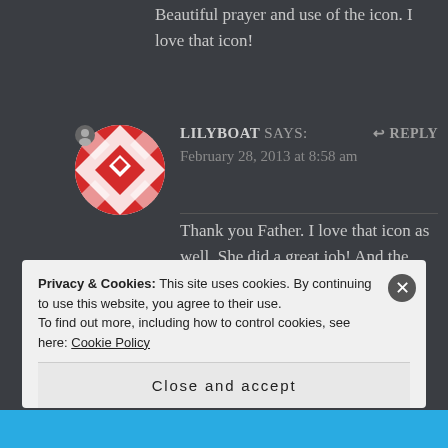Beautiful prayer and use of the icon. I love that icon!
LILYBOAT says: February 28, 2013 at 8:58 am
Thank you Father. I love that icon as well. She did a great job! And the way she described it in detail in her post, really spoke to me. All things lead to Jesus in life, as in the painting!
Privacy & Cookies: This site uses cookies. By continuing to use this website, you agree to their use. To find out more, including how to control cookies, see here: Cookie Policy
Close and accept